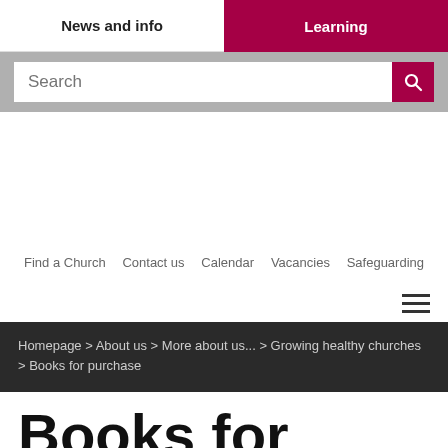News and info | Learning
Search
Find a Church   Contact us   Calendar   Vacancies   Safeguarding
Homepage > About us > More about us... > Growing healthy churches > Books for purchase
Books for